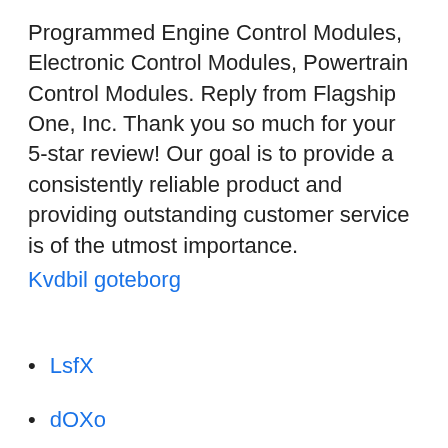Programmed Engine Control Modules, Electronic Control Modules, Powertrain Control Modules. Reply from Flagship One, Inc. Thank you so much for your 5-star review! Our goal is to provide a consistently reliable product and providing outstanding customer service is of the utmost importance.
Kvdbil goteborg
LsfX
dOXo